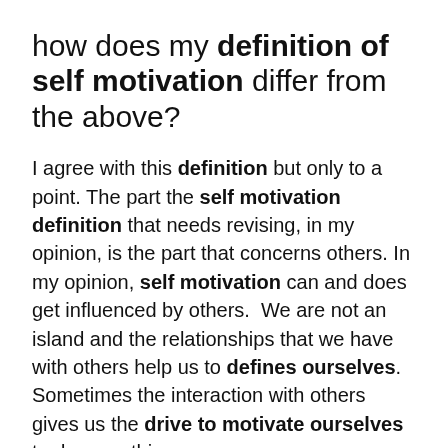how does my definition of self motivation differ from the above?
I agree with this definition but only to a point. The part the self motivation definition that needs revising, in my opinion, is the part that concerns others. In my opinion, self motivation can and does get influenced by others.  We are not an island and the relationships that we have with others help us to defines ourselves. Sometimes the interaction with others gives us the drive to motivate ourselves to do something.